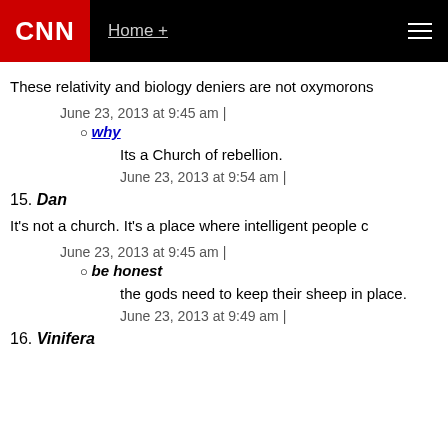CNN  Home +
These relativity and biology deniers are not oxymorons
June 23, 2013 at 9:45 am |
why
Its a Church of rebellion.
June 23, 2013 at 9:54 am |
15. Dan
It's not a church. It's a place where intelligent people c
June 23, 2013 at 9:45 am |
be honest
the gods need to keep their sheep in place.
June 23, 2013 at 9:49 am |
16. Vinifera